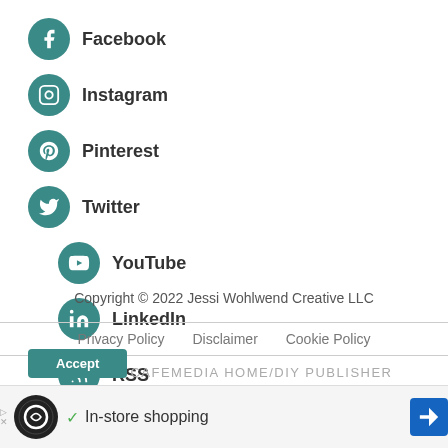Facebook
Instagram
Pinterest
Twitter
YouTube
LinkedIn
RSS
Copyright © 2022 Jessi Wohlwend Creative LLC
Privacy Policy   Disclaimer   Cookie Policy
AN ELITE CAFEMEDIA HOME/DIY PUBLISHER
This website uses cookies to improve your experience on the site by remembering your preferences if you visit often. We never sell your information or use your email address for anything other than user login or our newsletter (if you sign up for it).
[Figure (other): Advertisement banner with loop icon and In-store shopping text]